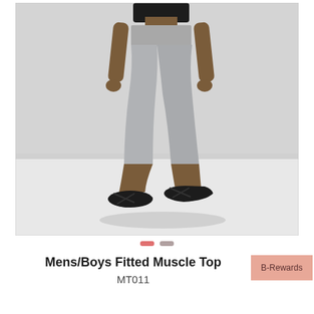[Figure (photo): A male dancer wearing gray fitted tights/leggings and a black top, with black ballet/dance shoes. The figure is photographed against a light gray background, showing the lower body and legs prominently.]
Mens/Boys Fitted Muscle Top
MT011
B-Rewards